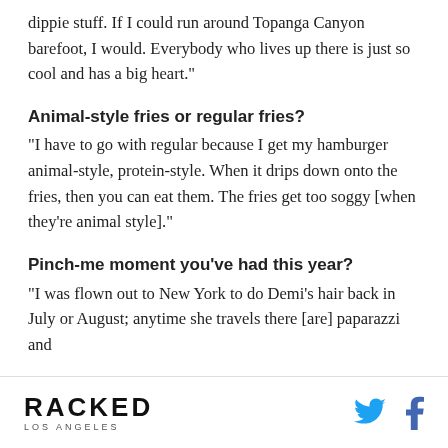dippie stuff. If I could run around Topanga Canyon barefoot, I would. Everybody who lives up there is just so cool and has a big heart."
Animal-style fries or regular fries?
"I have to go with regular because I get my hamburger animal-style, protein-style. When it drips down onto the fries, then you can eat them. The fries get too soggy [when they're animal style]."
Pinch-me moment you've had this year?
"I was flown out to New York to do Demi's hair back in July or August; anytime she travels there [are] paparazzi and
RACKED LOS ANGELES